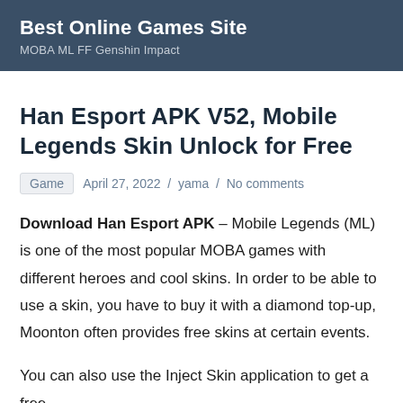Best Online Games Site
MOBA ML FF Genshin Impact
Han Esport APK V52, Mobile Legends Skin Unlock for Free
Game   April 27, 2022  /  yama  /  No comments
Download Han Esport APK – Mobile Legends (ML) is one of the most popular MOBA games with different heroes and cool skins. In order to be able to use a skin, you have to buy it with a diamond top-up, Moonton often provides free skins at certain events.
You can also use the Inject Skin application to get a free